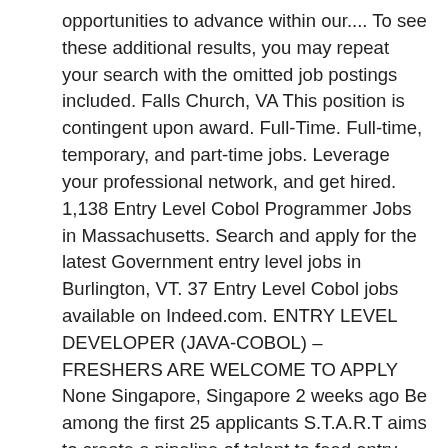opportunities to advance within our.... To see these additional results, you may repeat your search with the omitted job postings included. Falls Church, VA This position is contingent upon award. Full-Time. Full-time, temporary, and part-time jobs. Leverage your professional network, and get hired. 1,138 Entry Level Cobol Programmer Jobs in Massachusetts. Search and apply for the latest Government entry level jobs in Burlington, VT. 37 Entry Level Cobol jobs available on Indeed.com. ENTRY LEVEL DEVELOPER (JAVA-COBOL) – FRESHERS ARE WELCOME TO APPLY None Singapore, Singapore 2 weeks ago Be among the first 25 applicants S.T.A.R.T aims to create a pipeline of talent to feed entry-level pipeline program and entry-level full-time position hiring needs. A Master's degree in computer science, computer engineering, programming, or a related field may be preferred..., The Senior PeopleSoft Developer will provide support for the